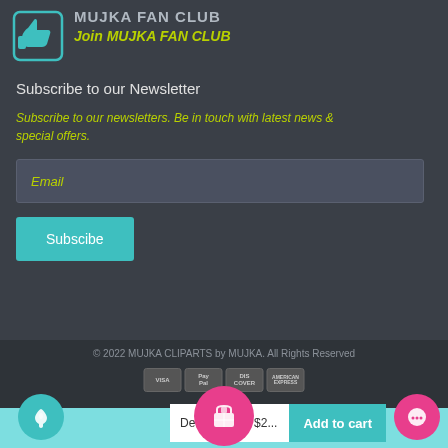MUJKA FAN CLUB
Join MUJKA FAN CLUB
Subscribe to our Newsletter
Subscribe to our newsletters. Be in touch with latest news & special offers.
Email
Subscibe
© 2022 MUJKA CLIPARTS by MUJKA. All Rights Reserved
[Figure (other): Payment method icons: VISA, PayPal, Discover, American Express]
Default Title - $2...
Add to cart